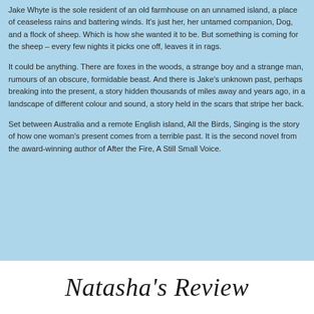Jake Whyte is the sole resident of an old farmhouse on an unnamed island, a place of ceaseless rains and battering winds. It's just her, her untamed companion, Dog, and a flock of sheep. Which is how she wanted it to be. But something is coming for the sheep – every few nights it picks one off, leaves it in rags.
It could be anything. There are foxes in the woods, a strange boy and a strange man, rumours of an obscure, formidable beast. And there is Jake's unknown past, perhaps breaking into the present, a story hidden thousands of miles away and years ago, in a landscape of different colour and sound, a story held in the scars that stripe her back.
Set between Australia and a remote English island, All the Birds, Singing is the story of how one woman's present comes from a terrible past. It is the second novel from the award-winning author of After the Fire, A Still Small Voice.
Natasha's Review